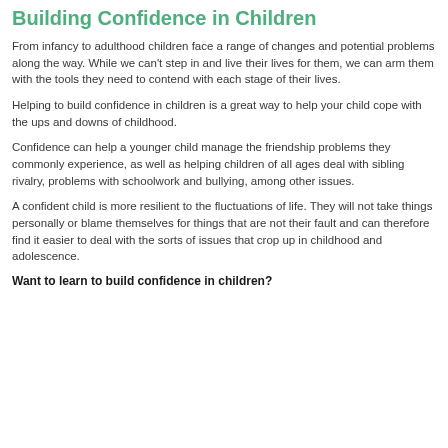Building Confidence in Children
From infancy to adulthood children face a range of changes and potential problems along the way. While we can't step in and live their lives for them, we can arm them with the tools they need to contend with each stage of their lives.
Helping to build confidence in children is a great way to help your child cope with the ups and downs of childhood.
Confidence can help a younger child manage the friendship problems they commonly experience, as well as helping children of all ages deal with sibling rivalry, problems with schoolwork and bullying, among other issues.
A confident child is more resilient to the fluctuations of life. They will not take things personally or blame themselves for things that are not their fault and can therefore find it easier to deal with the sorts of issues that crop up in childhood and adolescence.
Want to learn to build confidence in children?